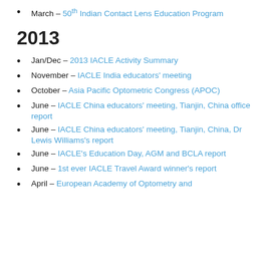March – 50th Indian Contact Lens Education Program
2013
Jan/Dec – 2013 IACLE Activity Summary
November – IACLE India educators' meeting
October – Asia Pacific Optometric Congress (APOC)
June – IACLE China educators' meeting, Tianjin, China office report
June – IACLE China educators' meeting, Tianjin, China, Dr Lewis Williams's report
June – IACLE's Education Day, AGM and BCLA report
June – 1st ever IACLE Travel Award winner's report
April – European Academy of Optometry and